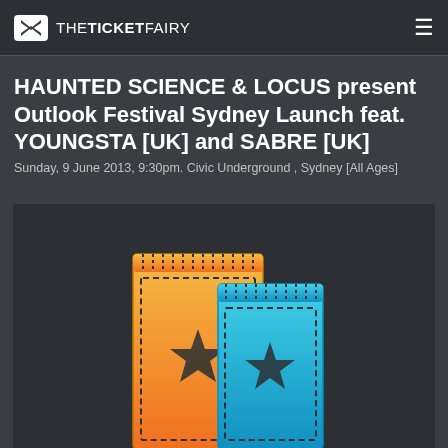THETICKETFAIRY
HAUNTED SCIENCE & LOCUS present Outlook Festival Sydney Launch feat. YOUNGSTA [UK] and SABRE [UK]
Sunday, 9 June 2013, 9:30pm. Civic Underground , Sydney [All Ages]
[Figure (illustration): Two overlapping event tickets - one orange/yellow with a star, one blue with a star - on a dark grey background, representing the ticket imagery for TheTicketFairy.]